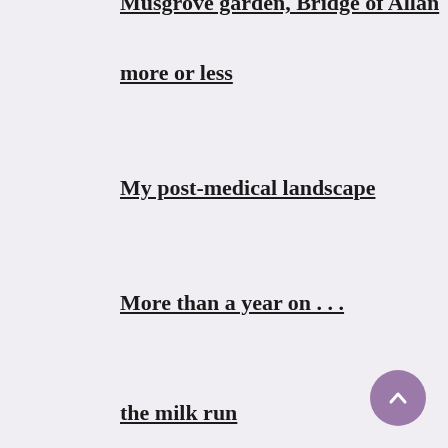Musgrove garden, Bridge of Allan
more or less
My post-medical landscape
More than a year on . . .
the milk run
Gàirnealachd
wavelengths
Gateway Drug
off the map
birth of a new sound